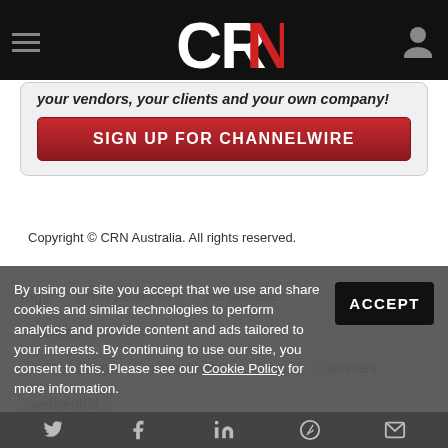CRN
[Figure (screenshot): Sign up for ChannelWire promotional banner with red button]
Copyright © CRN Australia. All rights reserved.
Tags: cirrus networks, joe demase, managed services, matt sullivan, michael wilton, msp, services, webcentral
By using our site you accept that we use and share cookies and similar technologies to perform analytics and provide content and ads tailored to your interests. By continuing to use our site, you consent to this. Please see our Cookie Policy for more information.